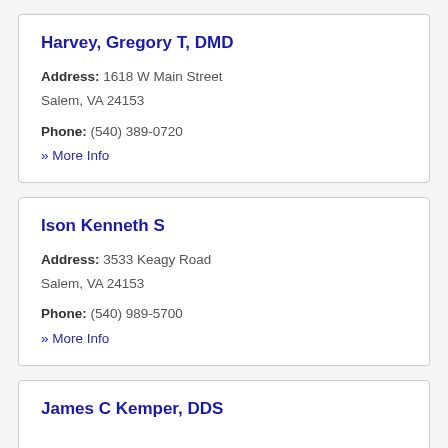Harvey, Gregory T, DMD
Address: 1618 W Main Street
Salem, VA 24153
Phone: (540) 389-0720
» More Info
Ison Kenneth S
Address: 3533 Keagy Road
Salem, VA 24153
Phone: (540) 989-5700
» More Info
James C Kemper, DDS